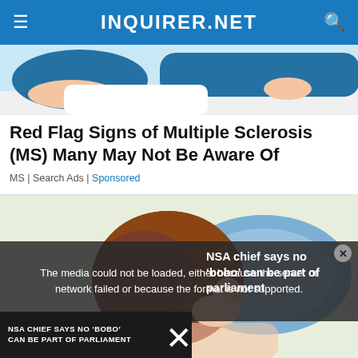INQUIRER.NET
[Figure (illustration): Illustration of a person in blue clothing lying down, top portion visible]
Red Flag Signs of Multiple Sclerosis (MS) Many May Not Be Aware Of
MS | Search Ads | Sponsored
[Figure (illustration): Illustration of a person with brown hair lying face-down on a blue pillow]
The media could not be loaded, either because the server or network failed or because the format is not supported.
NSA chief says no 'bobo' can be part of parliament
NSA CHIEF SAYS NO 'BOBO' CAN BE PART OF PARLIAMENT